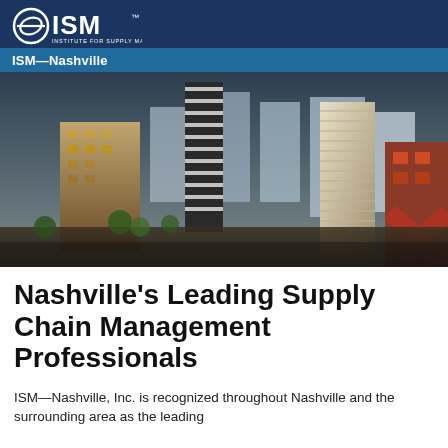ISM — Nashville
[Figure (photo): Aerial view of Nashville downtown skyline with high-rise buildings at dusk/sunset]
Nashville's Leading Supply Chain Management Professionals
ISM—Nashville, Inc. is recognized throughout Nashville and the surrounding area as the leading...